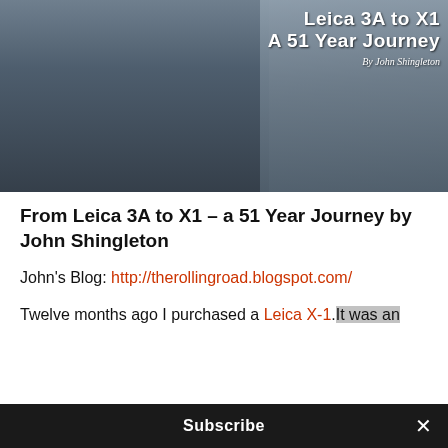[Figure (photo): Cover image of a man holding something out toward the camera on a street, with overlaid title text 'Leica 3A to X1 A 51 Year Journey' and 'By John Shingleton']
From Leica 3A to X1 – a 51 Year Journey by John Shingleton
John's Blog: http://therollingroad.blogspot.com/
Twelve months ago I purchased a Leica X-1.It was an
Subscribe